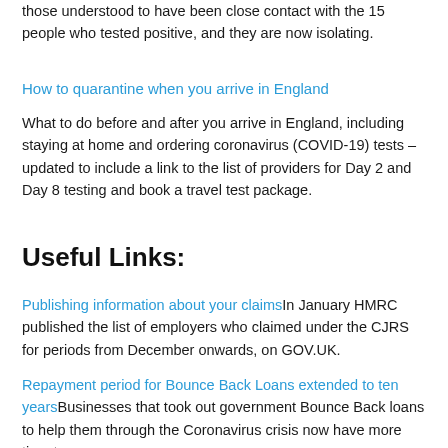those understood to have been close contact with the 15 people who tested positive, and they are now isolating.
How to quarantine when you arrive in England
What to do before and after you arrive in England, including staying at home and ordering coronavirus (COVID-19) tests – updated to include a link to the list of providers for Day 2 and Day 8 testing and book a travel test package.
Useful Links:
Publishing information about your claimsIn January HMRC published the list of employers who claimed under the CJRS for periods from December onwards, on GOV.UK.
Repayment period for Bounce Back Loans extended to ten yearsBusinesses that took out government Bounce Back loans to help them through the Coronavirus crisis now have more time to